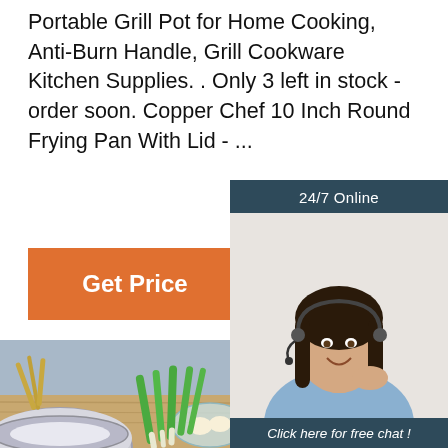Portable Grill Pot for Home Cooking, Anti-Burn Handle, Grill Cookware Kitchen Supplies. . Only 3 left in stock - order soon. Copper Chef 10 Inch Round Frying Pan With Lid - ...
Get Price
[Figure (infographic): Customer service widget with '24/7 Online' label, photo of a smiling woman with headset, 'Click here for free chat!' text, and an orange 'QUOTATION' button]
[Figure (photo): Kitchen scene with stainless steel mixing bowls, green onions, eggs in a glass bowl, a green silicone whisk, and other kitchen items on a wooden cutting board with a light blue background]
TOP